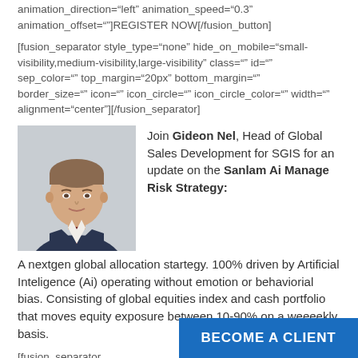animation_direction="left" animation_speed="0.3" animation_offset=""]REGISTER NOW[/fusion_button]
[fusion_separator style_type="none" hide_on_mobile="small-visibility,medium-visibility,large-visibility" class="" id="" sep_color="" top_margin="20px" bottom_margin="" border_size="" icon="" icon_circle="" icon_circle_color="" width="" alignment="center"][/fusion_separator]
[Figure (photo): Professional headshot of Gideon Nel, a man in a dark navy suit with a dark red tie, against a plain background.]
Join Gideon Nel, Head of Global Sales Development for SGIS for an update on the Sanlam Ai Manage Risk Strategy:
A nextgen global allocation startegy. 100% driven by Artificial Inteligence (Ai) operating without emotion or behaviorial bias. Consisting of global equities index and cash portfolio that moves equity exposure between 10-90% on a weeeekly basis.
[fusion_separator style_type="no hide_on_mobile="small-visibility,medium-visibility,large-visibility" class="" id="" sep_color="" top_margin="10px" bottom_margin=""
BECOME A CLIENT